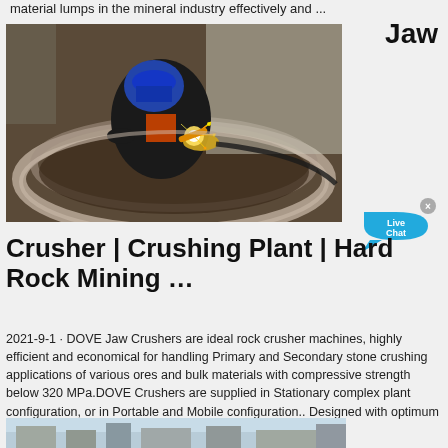material lumps in the mineral industry effectively and ...
[Figure (photo): A welder working inside a large metal bowl/crusher, welding with sparks flying, wearing protective gear]
Jaw
[Figure (other): Live Chat button bubble in cyan]
Crusher | Crushing Plant | Hard Rock Mining …
2021-9-1 · DOVE Jaw Crushers are ideal rock crusher machines, highly efficient and economical for handling Primary and Secondary stone crushing applications of various ores and bulk materials with compressive strength below 320 MPa.DOVE Crushers are supplied in Stationary complex plant configuration, or in Portable and Mobile configuration.. Designed with optimum cavities and height in …
[Figure (photo): Partial view of industrial facility or mining site exterior]